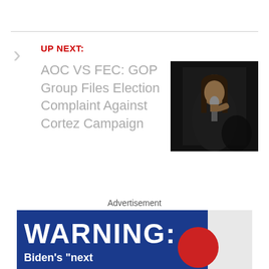UP NEXT:
AOC VS FEC: GOP Group Files Election Complaint Against Cortez Campaign
[Figure (photo): Woman holding microphone, dark background]
Advertisement
[Figure (infographic): Blue advertisement banner with WARNING: text and Biden's "next text below]